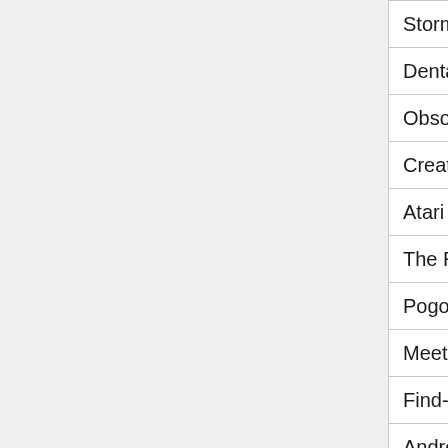| Game | Genre |
| --- | --- |
| Storm the House 3 | Action |
| Dental Damage | Arcade |
| Obsolescence | Shooter |
| Create a Fox | Dress-Up |
| Atari Crystal Castles | Arcade |
| The Rise of a King | Brawler |
| Pogo | Arcade |
| Meet'N'Fuck: Ocean Cruise | Adult |
| Find-O-Vision | Find |
| AndroKids | Platformer |
| MegaDrill | Action |
| Soul Plane Prizzents: High Steppin Take Off | Arcade |
| Christmas Escape Toy | Escape the Room |